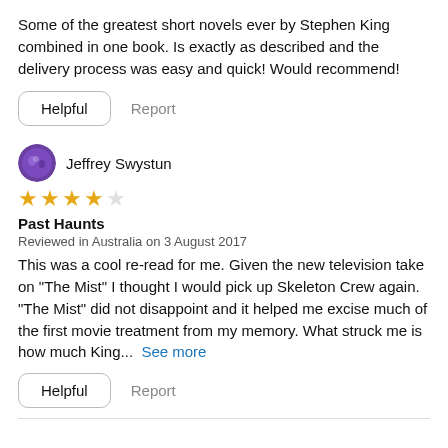Some of the greatest short novels ever by Stephen King combined in one book. Is exactly as described and the delivery process was easy and quick! Would recommend!
Helpful   Report
Jeffrey Swystun
★★★★☆
Past Haunts
Reviewed in Australia on 3 August 2017
This was a cool re-read for me. Given the new television take on "The Mist" I thought I would pick up Skeleton Crew again. "The Mist" did not disappoint and it helped me excise much of the first movie treatment from my memory. What struck me is how much King... See more
Helpful   Report